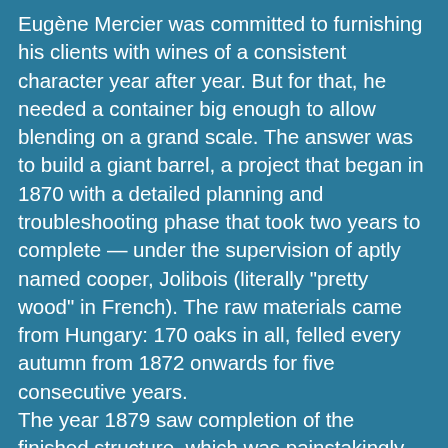Eugène Mercier was committed to furnishing his clients with wines of a consistent character year after year. But for that, he needed a container big enough to allow blending on a grand scale. The answer was to build a giant barrel, a project that began in 1870 with a detailed planning and troubleshooting phase that took two years to complete — under the supervision of aptly named cooper, Jolibois (literally "pretty wood" in French). The raw materials came from Hungary: 170 oaks in all, felled every autumn from 1872 onwards for five consecutive years.
The year 1879 saw completion of the finished structure, which was painstakingly loaded onto 11 huge carts for transport to Strasbourg. From there it was taken by train to Epernay where a waiting Eugene Mercier eventually took delivery on 11 September 1881. On 7 July 1885 the House of Mercier updated its inventory ledger as follows: "One tun containing 200,000 bottles, with a holding capacity of 1,600 hectolitres, weighing 20,000 kilos and assembled from 800 elements". All that remained was to check the barrel for leaks. The 1887 vintage marked the barrel's long-awaited christening: newly filled with 1,600 hectolitres of wine, the Mercier foudre was ready for the grandest blending ever